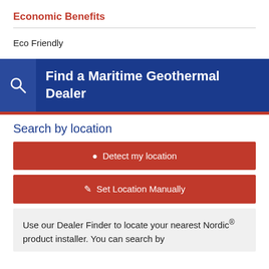Economic Benefits
Eco Friendly
Find a Maritime Geothermal Dealer
Search by location
Detect my location
Set Location Manually
Use our Dealer Finder to locate your nearest Nordic® product installer. You can search by